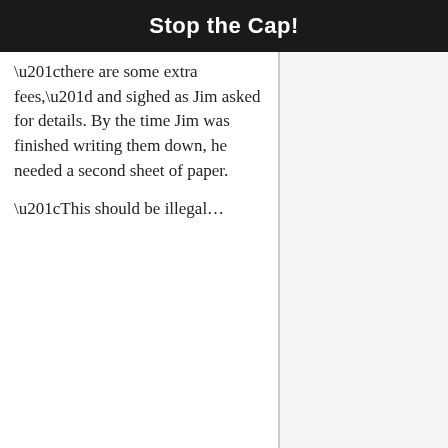Stop the Cap!
“there are some extra fees,” and sighed as Jim asked for details. By the time Jim was finished writing them down, he needed a second sheet of paper.
“This should be illegal…